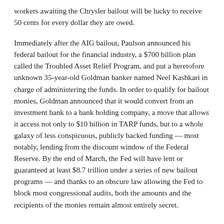workers awaiting the Chrysler bailout will be lucky to receive 50 cents for every dollar they are owed.
Immediately after the AIG bailout, Paulson announced his federal bailout for the financial industry, a $700 billion plan called the Troubled Asset Relief Program, and put a heretofore unknown 35-year-old Goldman banker named Neel Kashkari in charge of administering the funds. In order to qualify for bailout monies, Goldman announced that it would convert from an investment bank to a bank holding company, a move that allows it access not only to $10 billion in TARP funds, but to a whole galaxy of less conspicuous, publicly backed funding — most notably, lending from the discount window of the Federal Reserve. By the end of March, the Fed will have lent or guaranteed at least $8.7 trillion under a series of new bailout programs — and thanks to an obscure law allowing the Fed to block most congressional audits, both the amounts and the recipients of the monies remain almost entirely secret.